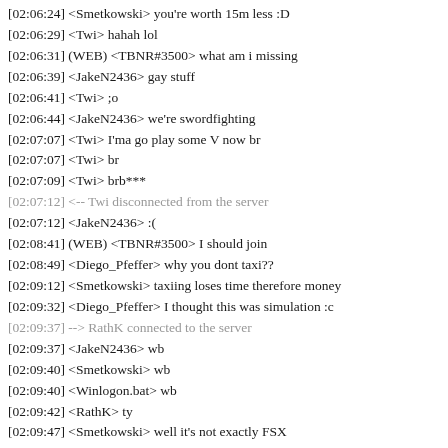[02:06:24] <Smetkowski> you're worth 15m less :D
[02:06:29] <Twi> hahah lol
[02:06:31] (WEB) <TBNR#3500> what am i missing
[02:06:39] <JakeN2436> gay stuff
[02:06:41] <Twi> ;o
[02:06:44] <JakeN2436> we're swordfighting
[02:07:07] <Twi> I'ma go play some V now br
[02:07:07] <Twi> br
[02:07:09] <Twi> brb***
[02:07:12] <-- Twi disconnected from the server
[02:07:12] <JakeN2436> :(
[02:08:41] (WEB) <TBNR#3500> I should join
[02:08:49] <Diego_Pfeffer> why you dont taxi??
[02:09:12] <Smetkowski> taxiing loses time therefore money
[02:09:32] <Diego_Pfeffer> I thought this was simulation :c
[02:09:37] --> RathK connected to the server
[02:09:37] <JakeN2436> wb
[02:09:40] <Smetkowski> wb
[02:09:40] <Winlogon.bat> wb
[02:09:42] <RathK> ty
[02:09:47] <Smetkowski> well it's not exactly FSX
[02:10:13] <allen_lombard> man
[02:10:26] <allen_lombard> i need to fly the qw757 again
[02:10:51] <Smetkowski> gz
[02:10:54] <JakeN2436> what the actual fuck